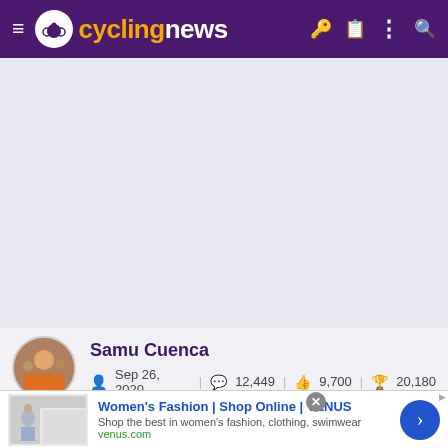cyclingnews
[Figure (screenshot): Gray placeholder area, likely an advertisement or image that did not load]
Samu Cuenca — Sep 26, 2020 — 12,449 comments — 9,700 likes — 20,180 points
[Figure (infographic): Row of achievement badge icons]
[Figure (infographic): Advertisement banner: Women's Fashion | Shop Online | VENUS — Shop the best in women's fashion, clothing, swimwear — venus.com]